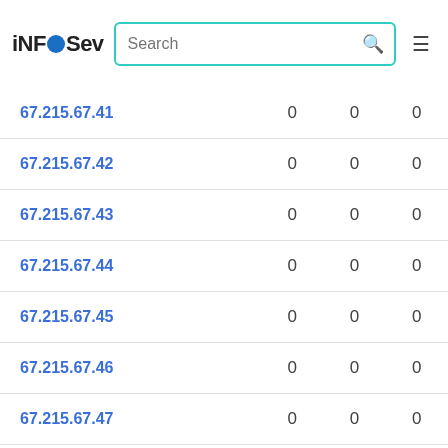iNFOSev | Search
| IP |  |  |  |
| --- | --- | --- | --- |
| 67.215.67.41 | 0 | 0 | 0 |
| 67.215.67.42 | 0 | 0 | 0 |
| 67.215.67.43 | 0 | 0 | 0 |
| 67.215.67.44 | 0 | 0 | 0 |
| 67.215.67.45 | 0 | 0 | 0 |
| 67.215.67.46 | 0 | 0 | 0 |
| 67.215.67.47 | 0 | 0 | 0 |
| 67.215.67.48 | 0 | 0 | 0 |
| 67.215.67.49 | 0 | 0 | 0 |
| 67.215.67.50 | 0 | 0 | 0 |